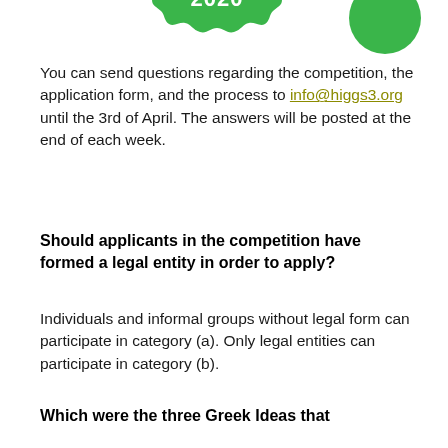[Figure (illustration): Two green decorative badge/stamp shapes at the top of the page. The left one contains the text '2020' in white bold font. The right one is a plain green circle partially visible.]
You can send questions regarding the competition, the application form, and the process to info@higgs3.org until the 3rd of April. The answers will be posted at the end of each week.
Should applicants in the competition have formed a legal entity in order to apply?
Individuals and informal groups without legal form can participate in category (a). Only legal entities can participate in category (b).
Which were the three Greek Ideas that